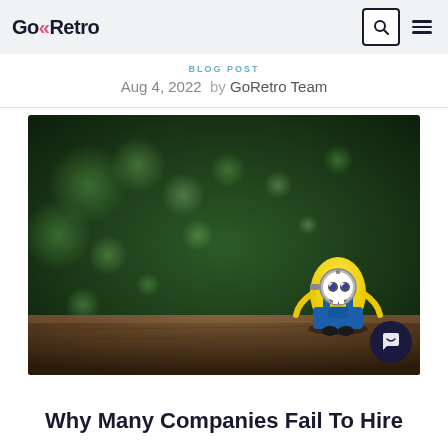GoRetro
BLOG POST
Aug 4, 2022  by GoRetro Team
[Figure (photo): A small Minion toy figurine sitting on a wooden surface with a blurred green bokeh background. The minion character is yellow with blue overalls, two eyes with glasses, and a small black mouth. The background is dark green with soft circular light bokeh.]
Why Many Companies Fail To Hire